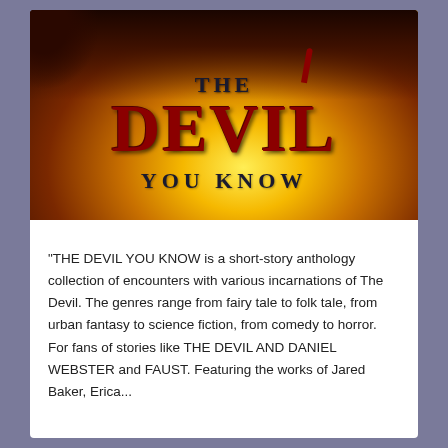[Figure (illustration): Book cover for 'The Devil You Know' — a fiery background of orange, yellow, and dark tones with demonic imagery. The title 'THE DEVIL YOU KNOW' is displayed in large bold text, with 'DEVIL' in dark red/crimson and 'THE' and 'YOU KNOW' in dark serif lettering.]
"THE DEVIL YOU KNOW is a short-story anthology collection of encounters with various incarnations of The Devil. The genres range from fairy tale to folk tale, from urban fantasy to science fiction, from comedy to horror. For fans of stories like THE DEVIL AND DANIEL WEBSTER and FAUST. Featuring the works of Jared Baker, Erica...